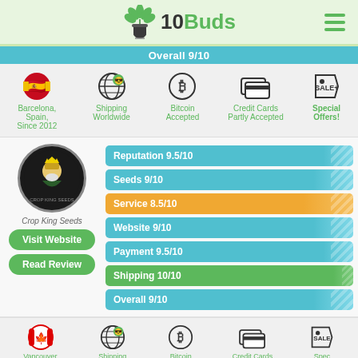[Figure (logo): 10Buds website logo with cannabis leaf and pot icon]
Overall 9/10
[Figure (infographic): Info icons row: Barcelona Spain Since 2012 flag, Shipping Worldwide globe, Bitcoin Accepted, Credit Cards Partly Accepted, Special Offers sale tag]
[Figure (infographic): Crop King Seeds rating card with logo, Visit Website and Read Review buttons, and rating bars: Reputation 9.5/10, Seeds 9/10, Service 8.5/10, Website 9/10, Payment 9.5/10, Shipping 10/10, Overall 9/10]
[Figure (infographic): Info icons row: Vancouver Canada Since 2005 flag, Shipping Worldwide globe, Bitcoin Accepted, Credit Cards Accepted, Special Offers sale tag]
Reputation 10/10